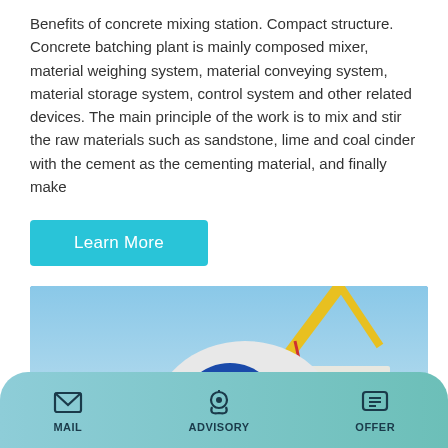Benefits of concrete mixing station. Compact structure. Concrete batching plant is mainly composed mixer, material weighing system, material conveying system, material storage system, control system and other related devices. The main principle of the work is to mix and stir the raw materials such as sandstone, lime and coal cinder with the cement as the cementing material, and finally make
Learn More
[Figure (photo): Concrete mixer truck with a large white and blue rotating drum, a yellow crane in the background, trees, a white building, and construction site surroundings under a clear blue sky.]
MAIL   ADVISORY   OFFER